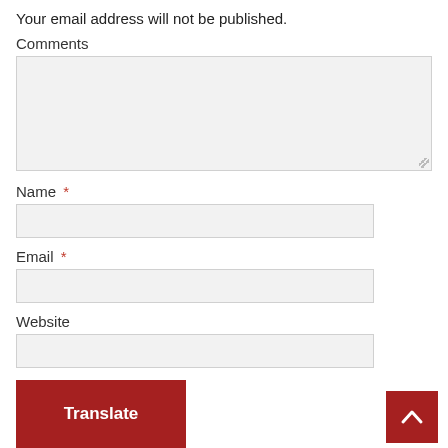Your email address will not be published.
Comments
Name *
Email *
Website
Translate